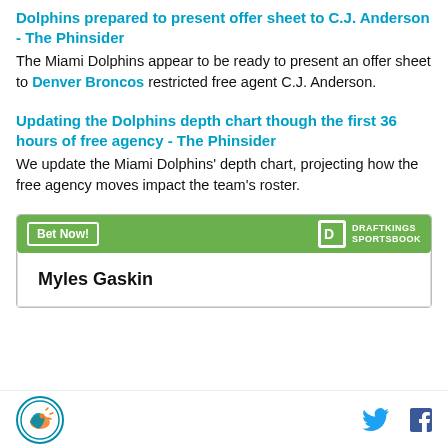Dolphins prepared to present offer sheet to C.J. Anderson - The Phinsider
The Miami Dolphins appear to be ready to present an offer sheet to Denver Broncos restricted free agent C.J. Anderson.
Updating the Dolphins depth chart though the first 36 hours of free agency - The Phinsider
We update the Miami Dolphins' depth chart, projecting how the free agency moves impact the team's roster.
[Figure (infographic): DraftKings Sportsbook advertisement banner with 'Bet Now!' button and DraftKings logo]
Myles Gaskin
Miami Dolphins logo, Twitter and Facebook social icons